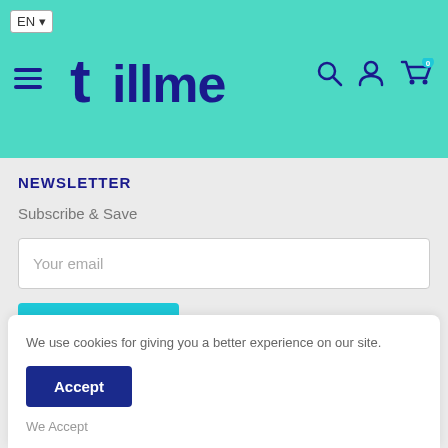[Figure (screenshot): E-commerce website header with teal/cyan background, EN language selector, hamburger menu, tillme logo in dark blue, search icon, user icon, and cart icon with 0 badge]
NEWSLETTER
Subscribe & Save
Your email
Subscribe
Follow Us
We use cookies for giving you a better experience on our site.
Accept
We Accept